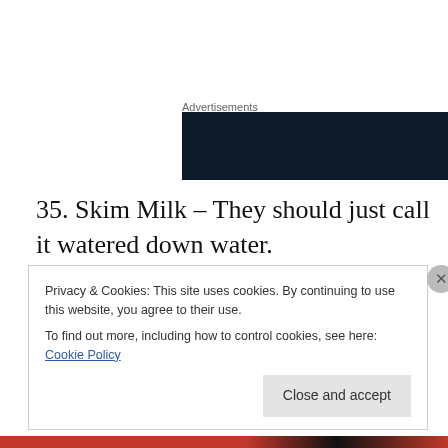Advertisements
[Figure (other): Dark navy advertisement banner with WordPress logo on the right side]
35. Skim Milk – They should just call it watered down water.
36. Weight lifters – It's pretty easy to make me look weak, but weight lifters, a little overkill.
Privacy & Cookies: This site uses cookies. By continuing to use this website, you agree to their use.
To find out more, including how to control cookies, see here: Cookie Policy
Close and accept